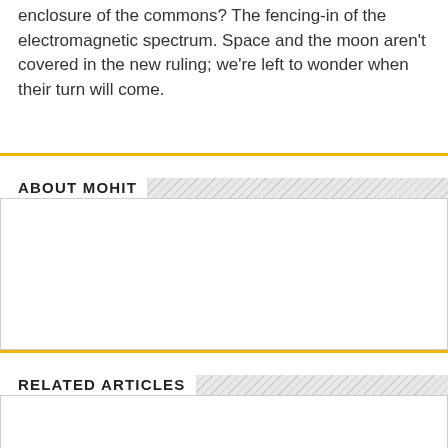enclosure of the commons? The fencing-in of the electromagnetic spectrum. Space and the moon aren't covered in the new ruling; we're left to wonder when their turn will come.
ABOUT MOHIT
[Figure (other): Empty white content box with border for About Mohit section]
RELATED ARTICLES
[Figure (other): Empty white content box with border for Related Articles section]